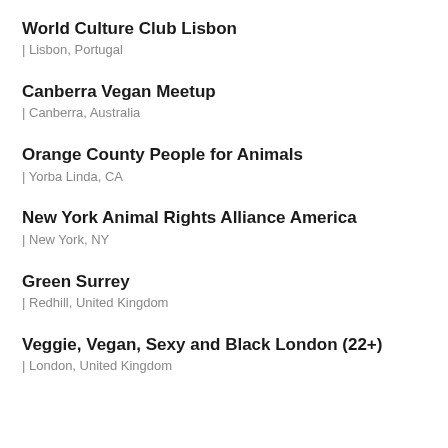World Culture Club Lisbon | Lisbon, Portugal
Canberra Vegan Meetup | Canberra, Australia
Orange County People for Animals | Yorba Linda, CA
New York Animal Rights Alliance America | New York, NY
Green Surrey | Redhill, United Kingdom
Veggie, Vegan, Sexy and Black London (22+) | London, United Kingdom